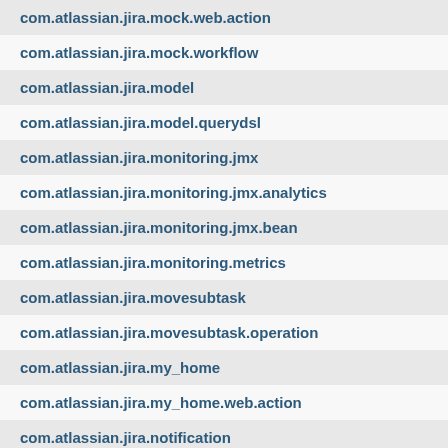| com.atlassian.jira.mock.web.action |
| com.atlassian.jira.mock.workflow |
| com.atlassian.jira.model |
| com.atlassian.jira.model.querydsl |
| com.atlassian.jira.monitoring.jmx |
| com.atlassian.jira.monitoring.jmx.analytics |
| com.atlassian.jira.monitoring.jmx.bean |
| com.atlassian.jira.monitoring.metrics |
| com.atlassian.jira.movesubtask |
| com.atlassian.jira.movesubtask.operation |
| com.atlassian.jira.my_home |
| com.atlassian.jira.my_home.web.action |
| com.atlassian.jira.notification |
| com.atlassian.jira.notification.type |
| com.atlassian.jira.notification.type.enterprise |
| com.atlassian.jira.oauth.consumer |
| com.atlassian.jira.oauth.serviceprovider |
| com.atlassian.jira.ofbiz |